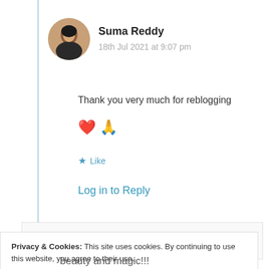[Figure (photo): Circular avatar photo of Suma Reddy, a woman with dark hair against outdoor background]
Suma Reddy
18th Jul 2021 at 9:07 pm
Thank you very much for reblogging ❤️ 🙏
★ Like
Log in to Reply
Privacy & Cookies: This site uses cookies. By continuing to use this website, you agree to their use.
To find out more, including how to control cookies, see here: Cookie Policy
Close and accept
beauty and magic!!!